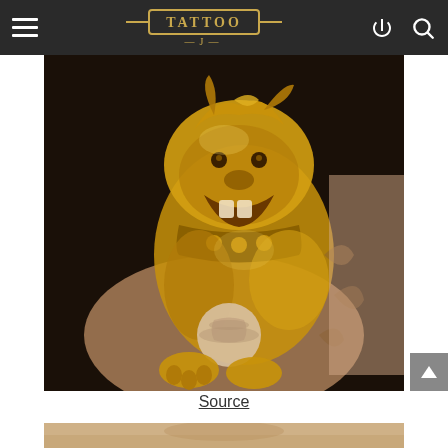TATTOO J — navigation bar with hamburger menu, logo, login and search icons
[Figure (photo): Close-up photograph of a tattoo on an arm depicting a golden/yellow foo dog (Chinese guardian lion) holding a decorative ball, with intricate shading and detail work in yellow, orange, and brown tones against a dark background]
Source
[Figure (photo): Partial view of another tattoo photograph showing the top edge, brownish skin tones visible]